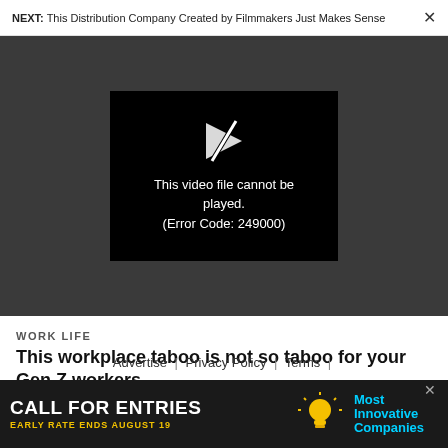NEXT: This Distribution Company Created by Filmmakers Just Makes Sense ×
[Figure (screenshot): Video player showing error message: 'This video file cannot be played. (Error Code: 249000)' on dark background with broken play icon]
WORK LIFE
This workplace taboo is not so taboo for your Gen Z workers
Advertise | Privacy Policy | Terms |
[Figure (infographic): Advertisement banner: 'CALL FOR ENTRIES — EARLY RATE ENDS AUGUST 19 — Most Innovative Companies' with lightbulb icon on dark background]